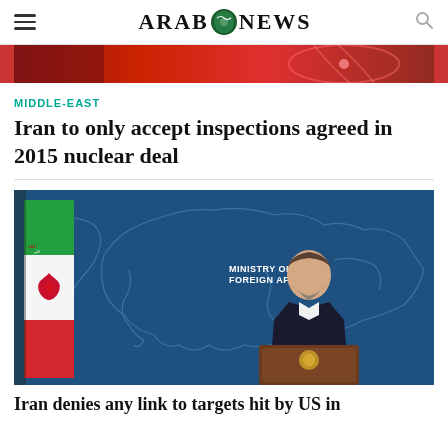ARAB NEWS
[Figure (photo): Top cropped image with red background, partial view of article header image]
MIDDLE-EAST
Iran to only accept inspections agreed in 2015 nuclear deal
[Figure (photo): Iranian Ministry of Foreign Affairs spokesperson standing at podium in front of blue background with world map outline and Iranian flag to the left]
Iran denies any link to targets hit by US in